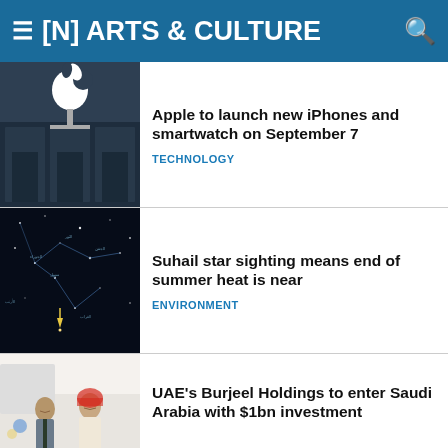[N] ARTS & CULTURE
[Figure (photo): Apple store exterior with large Apple logo on glass facade, dark blue tones]
Apple to launch new iPhones and smartwatch on September 7
TECHNOLOGY
[Figure (photo): Dark star map/constellation chart with Arabic text labels and a yellow arrow pointing to Suhail star]
Suhail star sighting means end of summer heat is near
ENVIRONMENT
[Figure (photo): Two men in business attire smiling, one in traditional Gulf dress, one in suit with tie]
UAE's Burjeel Holdings to enter Saudi Arabia with $1bn investment